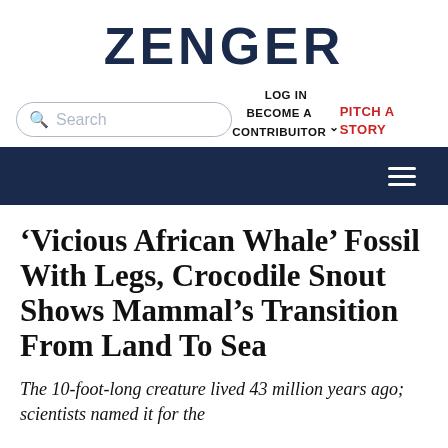ZENGER
LOG IN
BECOME A CONTRIBUITOR
PITCH A STORY
[Figure (screenshot): Navigation bar with dark navy background and hamburger menu icon on the right]
‘Vicious African Whale’ Fossil With Legs, Crocodile Snout Shows Mammal’s Transition From Land To Sea
The 10-foot-long creature lived 43 million years ago; scientists named it for the